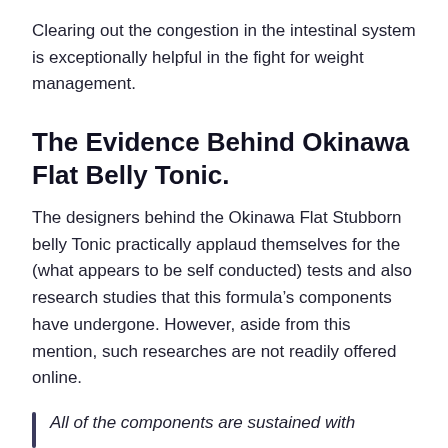Clearing out the congestion in the intestinal system is exceptionally helpful in the fight for weight management.
The Evidence Behind Okinawa Flat Belly Tonic.
The designers behind the Okinawa Flat Stubborn belly Tonic practically applaud themselves for the (what appears to be self conducted) tests and also research studies that this formula’s components have undergone. However, aside from this mention, such researches are not readily offered online.
All of the components are sustained with